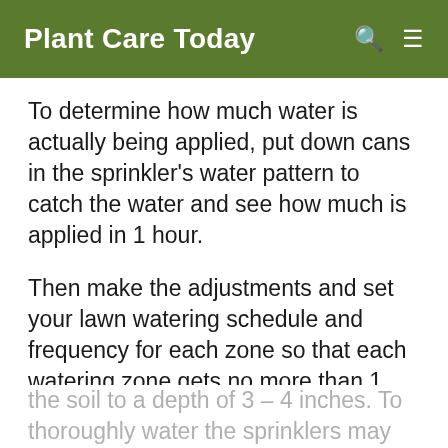Plant Care Today
To determine how much water is actually being applied, put down cans in the sprinkler's water pattern to catch the water and see how much is applied in 1 hour.
Then make the adjustments and set your lawn watering schedule and frequency for each zone so that each watering zone gets no more than 1 inch of water per hour, which should moisten the soil to a depth of 3 – 4 inches. To thoroughly water the sprinklers may